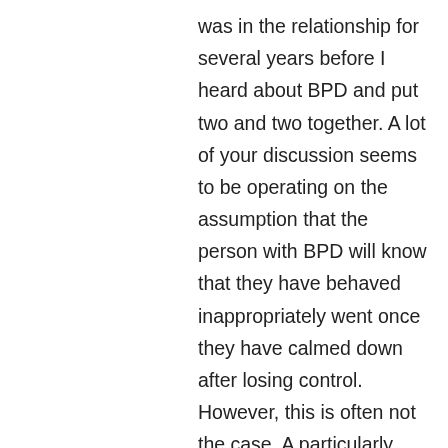was in the relationship for several years before I heard about BPD and put two and two together. A lot of your discussion seems to be operating on the assumption that the person with BPD will know that they have behaved inappropriately went once they have calmed down after losing control. However, this is often not the case. A particularly problematic feature of my partner's condition is his failure to take responsibility for his actions. I'm afraid that he takes the classically abusive stance of blaming his actions on me including when he shouts at me, or when he threatens me. He does this regularly, and always justifies its using some spurious reason such as my tone of voice. He seems to lack either the insight or the willingness to take